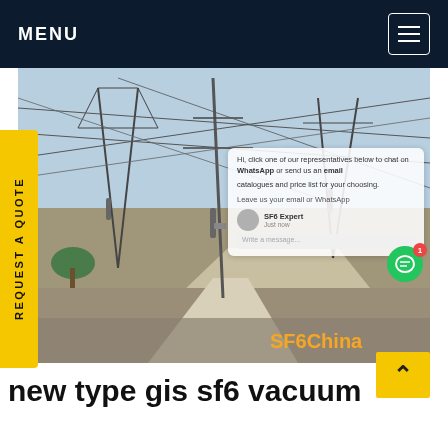MENU
[Figure (photo): Electrical substation with high-voltage transmission line structures, overhead wire lattices, and insulators. Concrete pathway and gravel ground visible. SF6China watermark in orange at lower right.]
REQUEST A QUOTE
new type gis sf6 vacuum